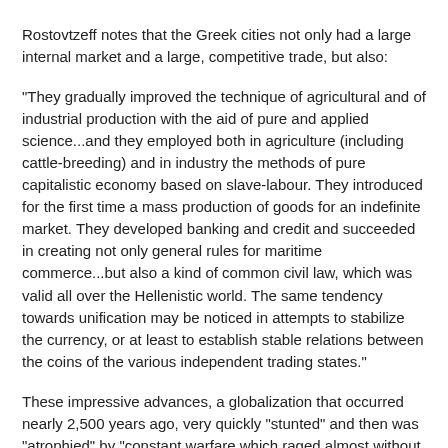Rostovtzeff notes that the Greek cities not only had a large internal market and a large, competitive trade, but also:
"They gradually improved the technique of agricultural and of industrial production with the aid of pure and applied science...and they employed both in agriculture (including cattle-breeding) and in industry the methods of pure capitalistic economy based on slave-labour. They introduced for the first time a mass production of goods for an indefinite market. They developed banking and credit and succeeded in creating not only general rules for maritime commerce...but also a kind of common civil law, which was valid all over the Hellenistic world. The same tendency towards unification may be noticed in attempts to stabilize the currency, or at least to establish stable relations between the coins of the various independent trading states."
These impressive advances, a globalization that occurred nearly 2,500 years ago, very quickly "stunted" and then was "atrophied" by "constant warfare which raged almost without interruption all over the Hellenistic world." "The wars forced...